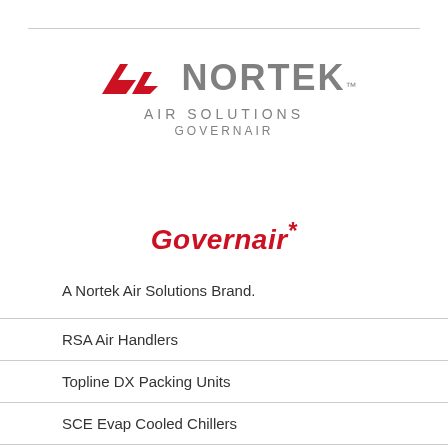[Figure (logo): Nortek Air Solutions Governair logo with red chevron/arrow symbol and gray NORTEK text, AIR SOLUTIONS and GOVERNAIR subtext]
Governair*
A Nortek Air Solutions Brand.
RSA Air Handlers
Topline DX Packing Units
SCE Evap Cooled Chillers